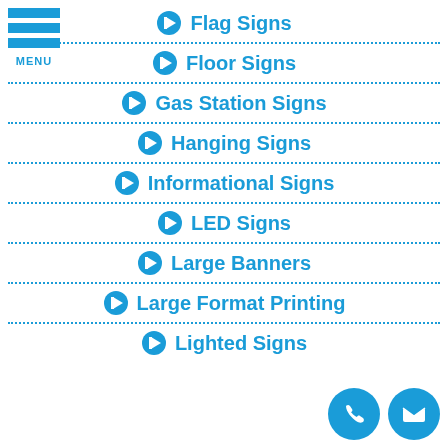[Figure (other): Hamburger menu icon with three blue horizontal bars and MENU label]
Flag Signs
Floor Signs
Gas Station Signs
Hanging Signs
Informational Signs
LED Signs
Large Banners
Large Format Printing
Lighted Signs
[Figure (other): Blue circle phone icon and blue circle email/envelope icon in bottom right corner]